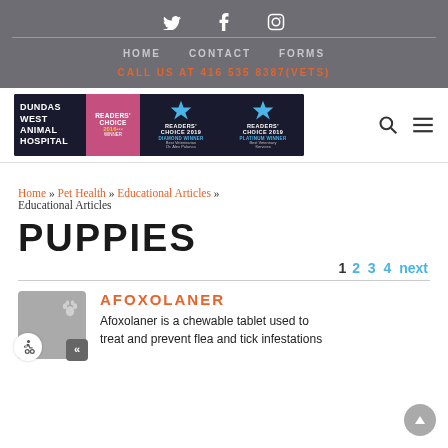Twitter Facebook Instagram social icons
HOME   CONTACT   FORMS
CALL US AT 416 535 8387(VETS)
[Figure (logo): Dundas West Animal Hospital logo banner with Readers Choice 2019 Diamond Winner and Platinum Winner awards]
Home » Pet Health » Educational Articles » Educational Articles
PUPPIES
1 2 3 4 next
AFOXOLANER
Afoxolaner is a chewable tablet used to treat and prevent flea and tick infestations to keep pets healthy and comfortable.